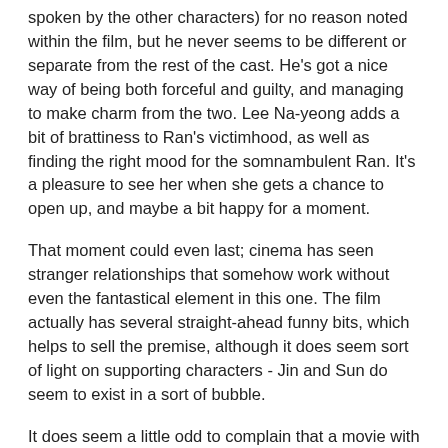spoken by the other characters) for no reason noted within the film, but he never seems to be different or separate from the rest of the cast. He's got a nice way of being both forceful and guilty, and managing to make charm from the two. Lee Na-yeong adds a bit of brattiness to Ran's victimhood, as well as finding the right mood for the somnambulent Ran. It's a pleasure to see her when she gets a chance to open up, and maybe a bit happy for a moment.
That moment could even last; cinema has seen stranger relationships that somehow work without even the fantastical element in this one. The film actually has several straight-ahead funny bits, which helps to sell the premise, although it does seem sort of light on supporting characters - Jin and Sun do seem to exist in a sort of bubble.
It does seem a little odd to complain that a movie with this premise is too weird, but that is its problem. The weird that grows organically from the idea is great stuff, but the rest is grotesque - and worse, seemingly random - enough to fritter a lot of that excitement away.